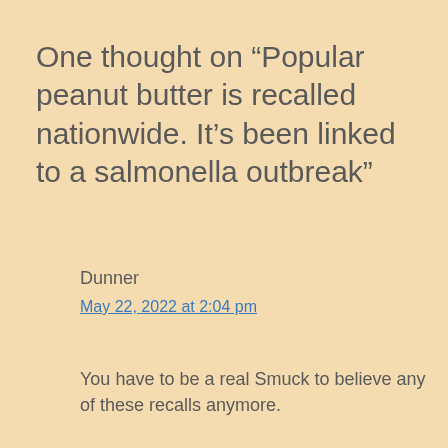One thought on “Popular peanut butter is recalled nationwide. It’s been linked to a salmonella outbreak”
Dunner
May 22, 2022 at 2:04 pm
You have to be a real Smuck to believe any of these recalls anymore.